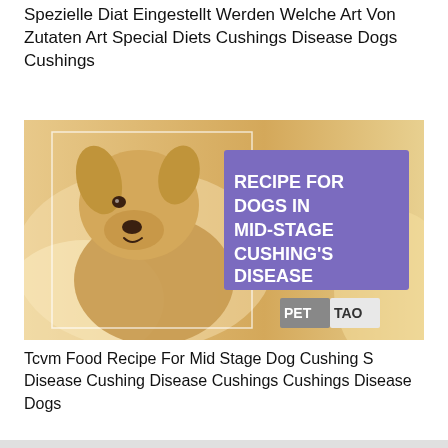Spezielle Diat Eingestellt Werden Welche Art Von Zutaten Art Special Diets Cushings Disease Dogs Cushings
[Figure (photo): Photo of a happy golden/cream colored dog on a warm background, with a purple overlay box on the right showing text: 'RECIPE FOR DOGS IN MID-STAGE CUSHING'S DISEASE' in bold white, and a PET TAO logo in the bottom right corner.]
Tcvm Food Recipe For Mid Stage Dog Cushing S Disease Cushing Disease Cushings Cushings Disease Dogs